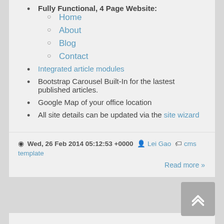Fully Functional, 4 Page Website:
Home
About
Blog
Contact
Integrated article modules
Bootstrap Carousel Built-In for the lastest published articles.
Google Map of your office location
All site details can be updated via the site wizard
Wed, 26 Feb 2014 05:12:53 +0000  Lei Gao  cms template
Read more »
Site Wizard can create a professional site in minutes